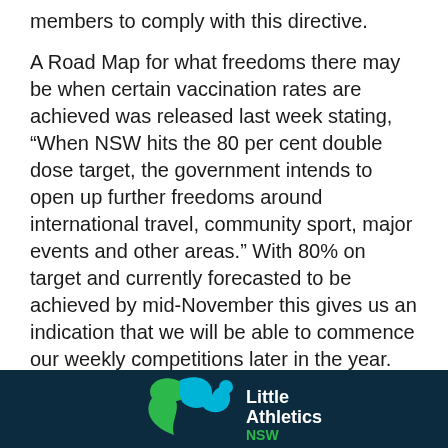members to comply with this directive.
A Road Map for what freedoms there may be when certain vaccination rates are achieved was released last week stating, “When NSW hits the 80 per cent double dose target, the government intends to open up further freedoms around international travel, community sport, major events and other areas.” With 80% on target and currently forecasted to be achieved by mid-November this gives us an indication that we will be able to commence our weekly competitions later in the year.
READ MORE
[Figure (logo): Little Athletics NSW logo with teal/green ribbon figure and white text on dark navy background]